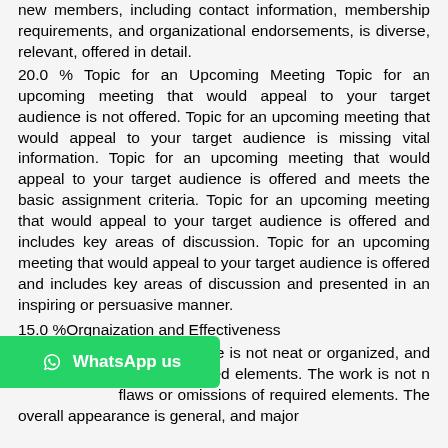new members, including contact information, membership requirements, and organizational endorsements, is diverse, relevant, offered in detail.
20.0 % Topic for an Upcoming Meeting Topic for an upcoming meeting that would appeal to your target audience is not offered. Topic for an upcoming meeting that would appeal to your target audience is missing vital information. Topic for an upcoming meeting that would appeal to your target audience is offered and meets the basic assignment criteria. Topic for an upcoming meeting that would appeal to your target audience is offered and includes key areas of discussion. Topic for an upcoming meeting that would appeal to your target audience is offered and includes key areas of discussion and presented in an inspiring or persuasive manner.
15.0 %Orgnaization and Effectiveness
5.0 % Presentation The piece is not neat or organized, and it does not include all required elements. The work is not n... flaws or omissions of required elements. The overall appearance is general, and major elements are missing. The presentation is general. The...